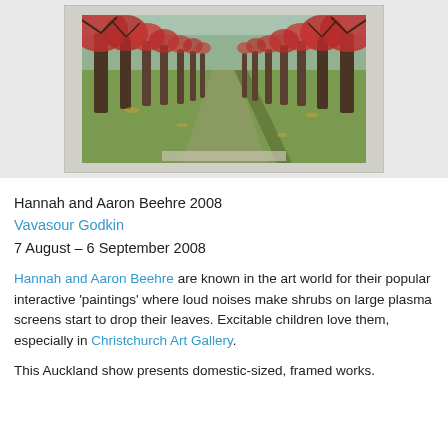[Figure (photo): A framed painting of an avenue of large trees with red/autumn foliage lining a green grass path, shown in a cream/silver frame against a light grey background.]
Hannah and Aaron Beehre 2008
Vavasour Godkin
7 August – 6 September 2008
Hannah and Aaron Beehre are known in the art world for their popular interactive 'paintings' where loud noises make shrubs on large plasma screens start to drop their leaves. Excitable children love them, especially in Christchurch Art Gallery.
This Auckland show presents domestic-sized, framed works.